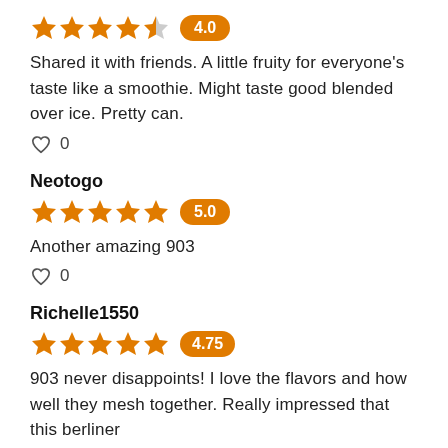[Figure (other): 4 out of 5 orange stars rating with orange badge showing 4.0]
Shared it with friends. A little fruity for everyone's taste like a smoothie. Might taste good blended over ice. Pretty can.
♡ 0
Neotogo
[Figure (other): 5 out of 5 orange stars rating with orange badge showing 5.0]
Another amazing 903
♡ 0
Richelle1550
[Figure (other): 5 out of 5 orange stars rating with orange badge showing 4.75]
903 never disappoints! I love the flavors and how well they mesh together. Really impressed that this berliner